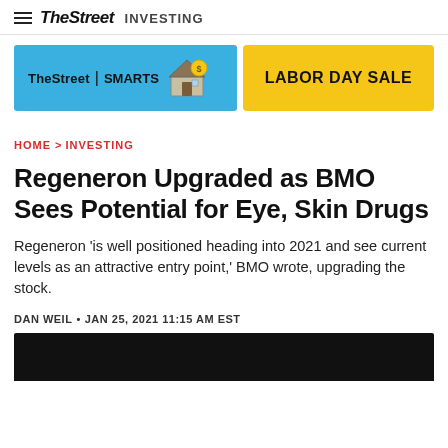TheStreet INVESTING
[Figure (other): TheStreet Smarts banner with blue background and house/dollar icon, alongside a yellow Labor Day Sale button]
HOME > INVESTING
Regeneron Upgraded as BMO Sees Potential for Eye, Skin Drugs
Regeneron 'is well positioned heading into 2021 and see current levels as an attractive entry point,' BMO wrote, upgrading the stock.
DAN WEIL • JAN 25, 2021 11:15 AM EST
[Figure (photo): Dark/black article image at bottom of page]